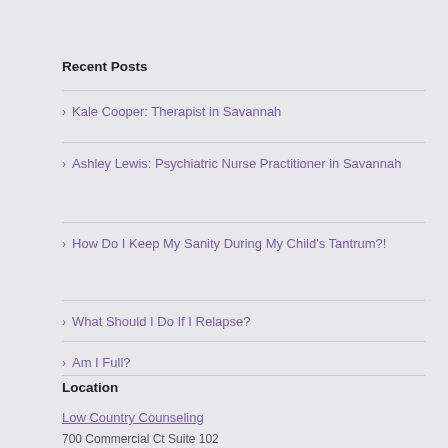Recent Posts
Kale Cooper: Therapist in Savannah
Ashley Lewis: Psychiatric Nurse Practitioner in Savannah
How Do I Keep My Sanity During My Child's Tantrum?!
What Should I Do If I Relapse?
Am I Full?
Location
Low Country Counseling
700 Commercial Ct Suite 102